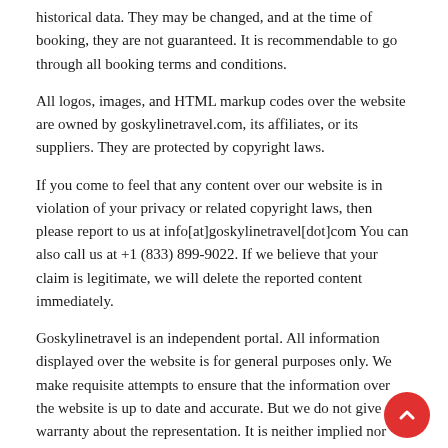historical data. They may be changed, and at the time of booking, they are not guaranteed. It is recommendable to go through all booking terms and conditions.
All logos, images, and HTML markup codes over the website are owned by goskylinetravel.com, its affiliates, or its suppliers. They are protected by copyright laws.
If you come to feel that any content over our website is in violation of your privacy or related copyright laws, then please report to us at info[at]goskylinetravel[dot]com You can also call us at +1 (833) 899-9022. If we believe that your claim is legitimate, we will delete the reported content immediately.
Goskylinetravel is an independent portal. All information displayed over the website is for general purposes only. We make requisite attempts to ensure that the information over the website is up to date and accurate. But we do not give any warranty about the representation. It is neither implied nor expressed. We may not be held responsible for any lapses in the information over the website with regards to their reliability, completeness, or accuracy. If you